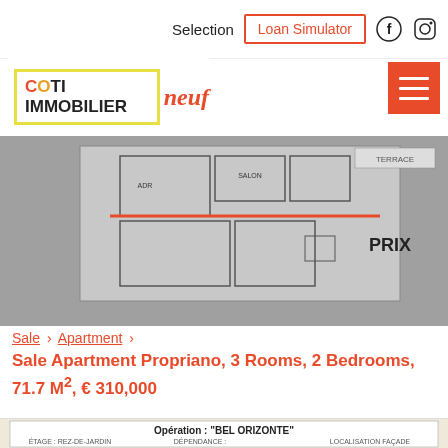Selection   Loan Simulator
[Figure (logo): COTI IMMOBILIER Neuf logo with yellow border box]
[Figure (engineering-diagram): Apartment floor plan schematic in grayscale with orange horizontal line and PRIX label on the right side]
Sale > Apartment >
Sale Apartment Propriano, 3 Rooms, 2 Bedrooms, 71.7 M², € 310,000
[Figure (engineering-diagram): Opération : BEL ORIZONTE - floor plan document with ÉTAGE: REZ-DE-JARDIN, LOT: A05, TYPE: T3, showing building layout with red highlighted unit and facade localisation]